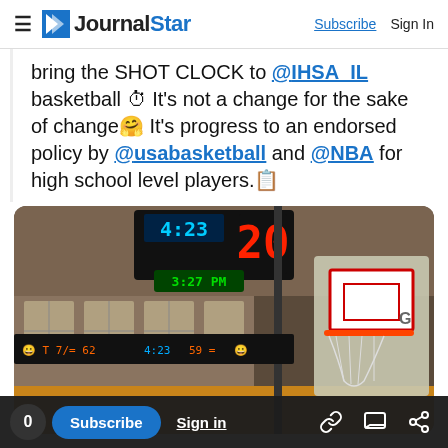JournalStar — Subscribe | Sign In
bring the SHOT CLOCK to @IHSA_IL basketball 🕰 It's not a change for the sake of change🤗 It's progress to an endorsed policy by @usabasketball and @NBA for high school level players.📋
[Figure (photo): Basketball gym scoreboard showing shot clock displaying 20 seconds and game clock showing 4:23, with scoreboard showing 62 vs 59 and a basketball hoop visible on the right side.]
0  Subscribe  Sign in